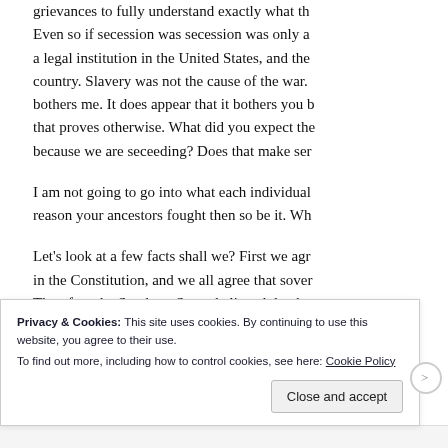grievances to fully understand exactly what th... Even so if secession was secession was only a legal institution in the United States, and the country. Slavery was not the cause of the war. bothers me. It does appear that it bothers you b that proves otherwise. What did you expect the because we are seceeding? Does that make ser
I am not going to go into what each individual reason your ancestors fought then so be it. Wh
Let’s look at a few facts shall we? First we agr in the Constitution, and we all agree that sover Therefore the Southern States believed that ha
Privacy & Cookies: This site uses cookies. By continuing to use this website, you agree to their use.
To find out more, including how to control cookies, see here: Cookie Policy
Close and accept